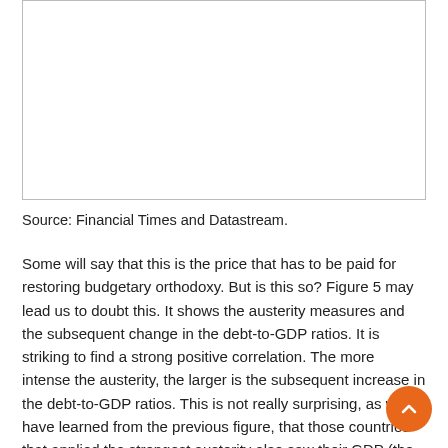[Figure (other): Empty white rectangle with border, representing a figure/chart placeholder]
Source: Financial Times and Datastream.
Some will say that this is the price that has to be paid for restoring budgetary orthodoxy. But is this so? Figure 5 may lead us to doubt this. It shows the austerity measures and the subsequent change in the debt-to-GDP ratios. It is striking to find a strong positive correlation. The more intense the austerity, the larger is the subsequent increase in the debt-to-GDP ratios. This is not really surprising, as we have learned from the previous figure, that those countries that applied the strongest austerity also saw their GDP (the denominator in the debt ratio) decline most forcefully. Thus, it can be